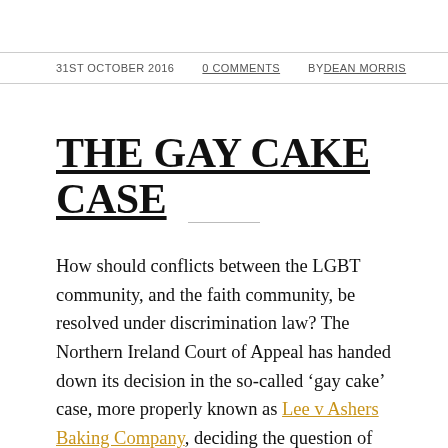31ST OCTOBER 2016   0 COMMENTS   BY DEAN MORRIS
THE GAY CAKE CASE
How should conflicts between the LGBT community, and the faith community, be resolved under discrimination law? The Northern Ireland Court of Appeal has handed down its decision in the so-called ‘gay cake’ case, more properly known as Lee v Ashers Baking Company, deciding the question of whether religious beliefs trump the law against discrimination in the supply of goods and services on grounds of sexual orientation. Ashers Bakery, owned by Mr & Mrs McArthur, cancelled an order taken